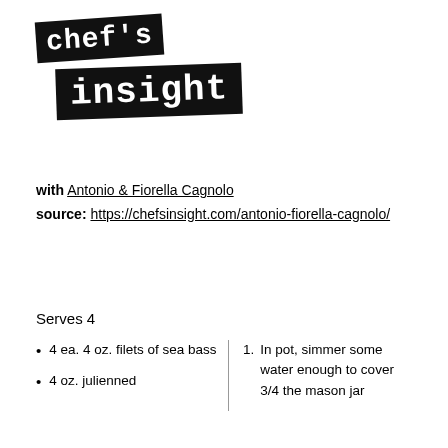[Figure (logo): Chef's Insight logo: two overlapping black rectangles with white monospace text. Top block says "chef's" rotated slightly, bottom block says "insight" rotated slightly.]
with Antonio & Fiorella Cagnolo
source: https://chefsinsight.com/antonio-fiorella-cagnolo/
Serves 4
4 ea. 4 oz. filets of sea bass
4 oz. julienned
1. In pot, simmer some water enough to cover 3/4 the mason jar